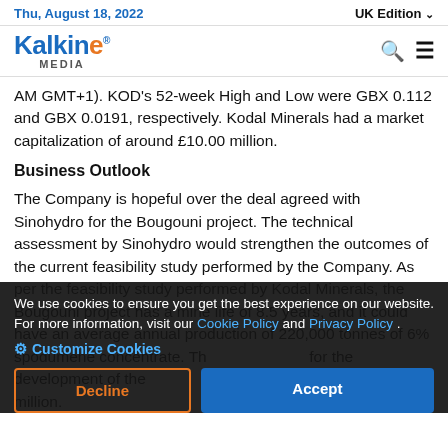Thu, August 18, 2022 | UK Edition
[Figure (logo): Kalkine Media logo with search and menu icons]
AM GMT+1). KOD's 52-week High and Low were GBX 0.112 and GBX 0.0191, respectively. Kodal Minerals had a market capitalization of around £10.00 million.
Business Outlook
The Company is hopeful over the deal agreed with Sinohydro for the Bougouni project. The technical assessment by Sinohydro would strengthen the outcomes of the current feasibility study performed by the Company. As per the feasibility study performed by Kodal Minerals, the Bougouni project has a mine life of 8.5 years, and it could have an average annual production of 220,000 tonnes of 6% spodumene concentrate. The capital costs for the development of the project would be around USD 117 million.
We use cookies to ensure you get the best experience on our website. For more information, visit our Cookie Policy and Privacy Policy .
Customize Cookies
Decline
Accept